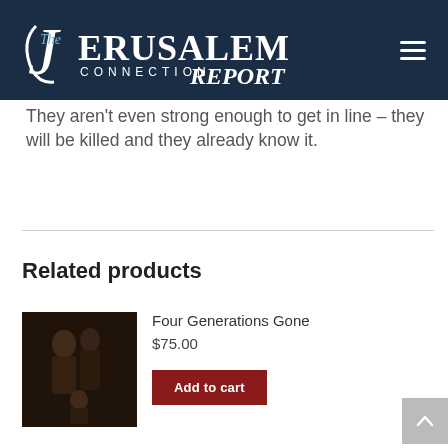The Jerusalem Connection Report
They aren't even strong enough to get in line – they will be killed and they already know it.
Related products
[Figure (photo): Painting of figures in dark tones, showing people huddled together]
Four Generations Gone
$75.00
Add to cart